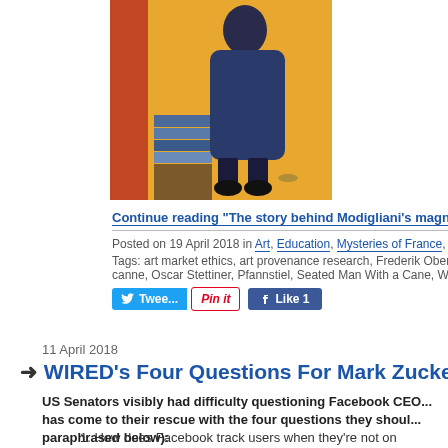[Figure (illustration): Painting showing a figure in a dark blue dress standing on a yellow/orange background, with books and a red element on the left side]
Continue reading "The story behind Modigliani's magnificent portrait of a cho..."
Posted on 19 April 2018 in Art, Education, Mysteries of France, Paris Writers News
Tags: art market ethics, art provenance research, Frederik Obermauer, James Palm... canne, Oscar Stettiner, Pfannstiel, Seated Man With a Cane, Willi Korte
Tweet | Pin it | Like 1
11 April 2018
WIRED's Four Questions For Mark Zuckerbe...
US Senators visibly had difficulty questioning Facebook CEO... has come to their rescue with the four questions they should... paraphrased below):
1. How does Facebook track users when they're not on Facebook?
2. Does Facebook behave like a monopoly?